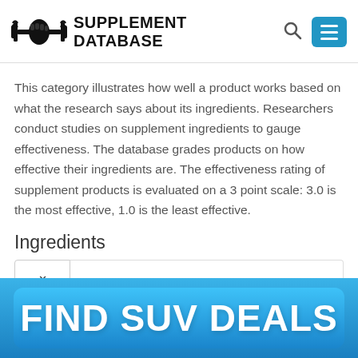[Figure (logo): Supplement Database logo with dumbbell/fist icon and bold text reading SUPPLEMENT DATABASE]
This category illustrates how well a product works based on what the research says about its ingredients. Researchers conduct studies on supplement ingredients to gauge effectiveness. The database grades products on how effective their ingredients are. The effectiveness rating of supplement products is evaluated on a 3 point scale: 3.0 is the most effective, 1.0 is the least effective.
Ingredients
[Figure (screenshot): Dropdown selector UI element with a chevron/down-arrow icon]
[Figure (infographic): Blue advertisement banner button reading FIND SUV DEALS]